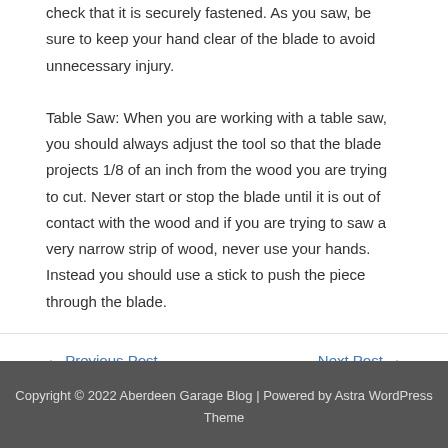check that it is securely fastened. As you saw, be sure to keep your hand clear of the blade to avoid unnecessary injury.
Table Saw: When you are working with a table saw, you should always adjust the tool so that the blade projects 1/8 of an inch from the wood you are trying to cut. Never start or stop the blade until it is out of contact with the wood and if you are trying to saw a very narrow strip of wood, never use your hands. Instead you should use a stick to push the piece through the blade.
← Previous Post
Next Post →
Copyright © 2022 Aberdeen Garage Blog | Powered by Astra WordPress Theme